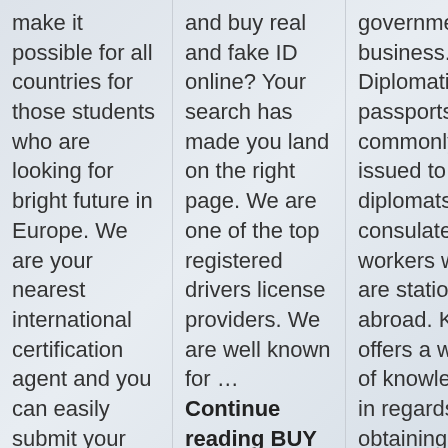make it possible for all countries for those students who are looking for bright future in Europe. We are your nearest international certification agent and you can easily submit your online application and registration. We're …
and buy real and fake ID online? Your search has made you land on the right page. We are one of the top registered drivers license providers. We are well known for … Continue reading BUY REAL REGISTERED DRIVER'S LICENSE ONLINE →
government business. Diplomatic passports are commonly issued to diplomats and consulate workers who are stationed abroad. Korba offers a wealth of knowledge in regards to obtaining a rea… Continue reading WHERE TO BUY DIPLOMATIC